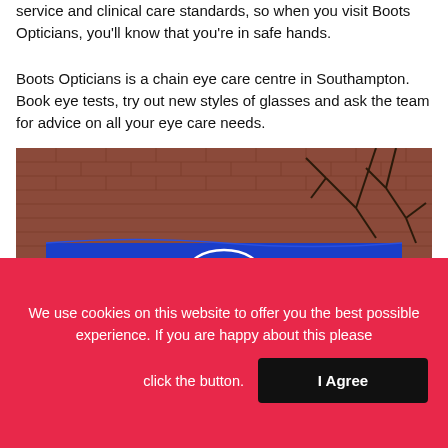service and clinical care standards, so when you visit Boots Opticians, you'll know that you're in safe hands.
Boots Opticians is a chain eye care centre in Southampton. Book eye tests, try out new styles of glasses and ask the team for advice on all your eye care needs.
[Figure (photo): Exterior photo of Boots Opticians store with blue fascia sign showing 'opticians', Boots logo, and 'hearingcare'. Brick building with bare trees in background.]
We use cookies on this website to offer you the best possible experience. If you are happy about this please click the button.